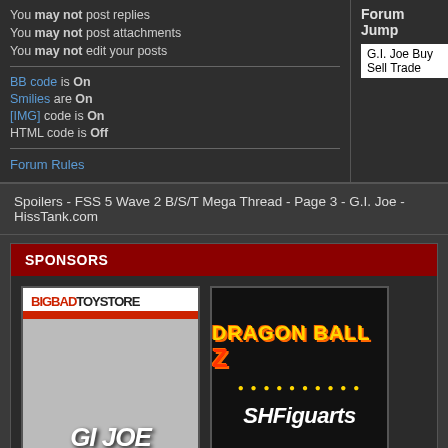You may not post replies
You may not post attachments
You may not edit your posts
BB code is On
Smilies are On
[IMG] code is On
HTML code is Off
Forum Rules
Forum Jump
G.I. Joe Buy Sell Trade
Spoilers - FSS 5 Wave 2 B/S/T Mega Thread - Page 3 - G.I. Joe - HissTank.com
SPONSORS
[Figure (logo): BigBadToyStore sponsor banner with GI Joe imagery]
[Figure (logo): Dragon Ball Z SH Figuarts sponsor banner]
[Figure (photo): Partial sponsor image bottom left]
[Figure (photo): Partial sponsor image bottom right]